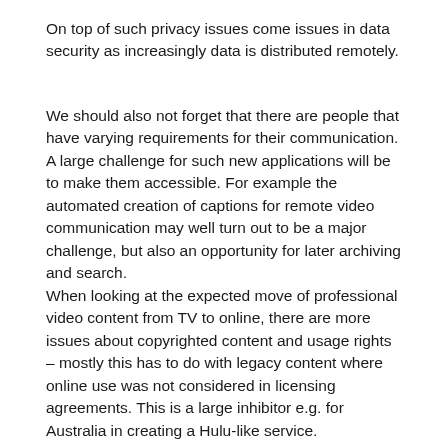On top of such privacy issues come issues in data security as increasingly data is distributed remotely.
We should also not forget that there are people that have varying requirements for their communication. A large challenge for such new applications will be to make them accessible. For example the automated creation of captions for remote video communication may well turn out to be a major challenge, but also an opportunity for later archiving and search.
When looking at the expected move of professional video content from TV to online, there are more issues about copyrighted content and usage rights – mostly this has to do with legacy content where online use was not considered in licensing agreements. This is a large inhibitor e.g. for Australia in creating a Hulu-like service.